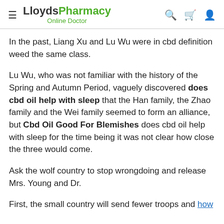LloydsPharmacy Online Doctor
In the past, Liang Xu and Lu Wu were in cbd definition weed the same class.
Lu Wu, who was not familiar with the history of the Spring and Autumn Period, vaguely discovered does cbd oil help with sleep that the Han family, the Zhao family and the Wei family seemed to form an alliance, but Cbd Oil Good For Blemishes does cbd oil help with sleep for the time being it was not clear how close the three would come.
Ask the wolf country to stop wrongdoing and release Mrs. Young and Dr.
First, the small country will send fewer troops and how